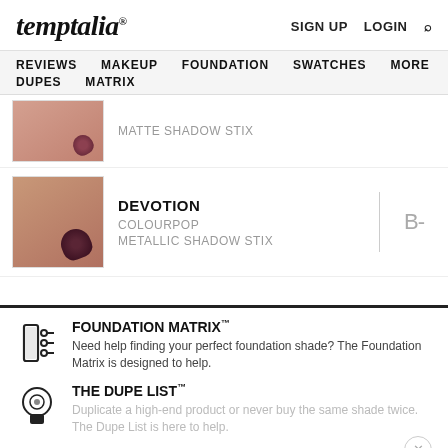temptalia® | SIGN UP  LOGIN  🔍
REVIEWS  MAKEUP  FOUNDATION  SWATCHES  MORE  DUPES  MATRIX
MATTE SHADOW STIX
DEVOTION
COLOURPOP
METALLIC SHADOW STIX
B-
FOUNDATION MATRIX™
Need help finding your perfect foundation shade? The Foundation Matrix is designed to help.
THE DUPE LIST™
Duplicate a high-end product or never buy the same shade twice. The Dupe List is here to help.